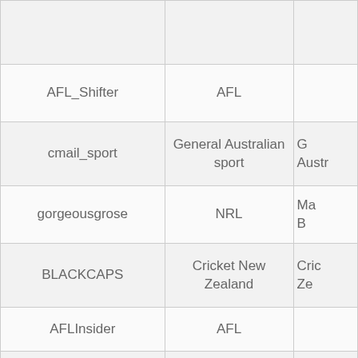| Username | Category | Category (cont.) |
| --- | --- | --- |
|  |  |  |
| AFL_Shifter | AFL |  |
| cmail_sport | General Australian sport | G Austr... |
| gorgeousgrose | NRL | Ma... B... |
| BLACKCAPS | Cricket New Zealand | Cric... Ze... |
| AFLInsider | AFL |  |
| NetballAust | Netball Australia | N Au... |
| LawrieMcKinna | A-League | Cent M Foot... |